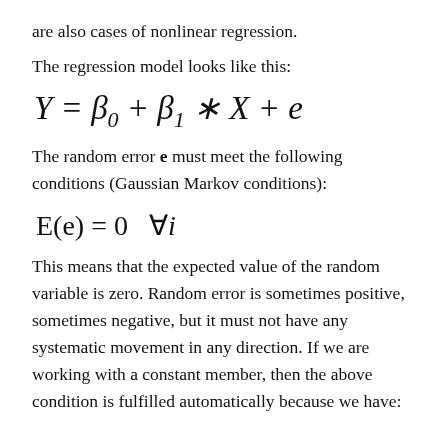are also cases of nonlinear regression.
The regression model looks like this:
The random error e must meet the following conditions (Gaussian Markov conditions):
This means that the expected value of the random variable is zero. Random error is sometimes positive, sometimes negative, but it must not have any systematic movement in any direction. If we are working with a constant member, then the above condition is fulfilled automatically because we have: